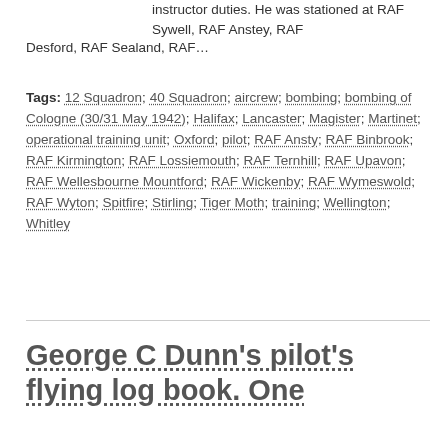instructor duties. He was stationed at RAF Sywell, RAF Anstey, RAF Desford, RAF Sealand, RAF…
Tags: 12 Squadron; 40 Squadron; aircrew; bombing; bombing of Cologne (30/31 May 1942); Halifax; Lancaster; Magister; Martinet; operational training unit; Oxford; pilot; RAF Ansty; RAF Binbrook; RAF Kirmington; RAF Lossiemouth; RAF Ternhill; RAF Upavon; RAF Wellesbourne Mountford; RAF Wickenby; RAF Wymeswold; RAF Wyton; Spitfire; Stirling; Tiger Moth; training; Wellington; Whitley
George C Dunn's pilot's flying log book. One